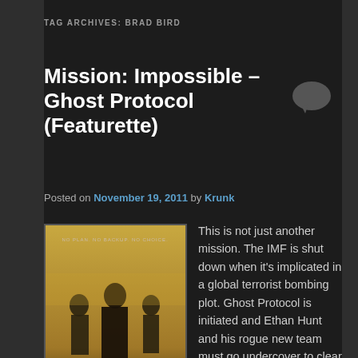TAG ARCHIVES: BRAD BIRD
Mission: Impossible – Ghost Protocol (Featurette)
Posted on November 19, 2011 by Krunk
[Figure (photo): Movie poster for Mission: Impossible Ghost Protocol featuring Tom Cruise and cast walking in a dusty city scene]
This is not just another mission. The IMF is shut down when it's implicated in a global terrorist bombing plot. Ghost Protocol is initiated and Ethan Hunt and his rogue new team must go undercover to clear their organization's name. No help, no contact, off the grid. You have never seen a